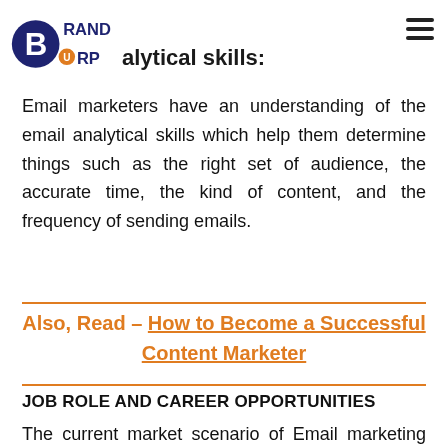BrandBurp (logo)
Analytical skills:
Email marketers have an understanding of the email analytical skills which help them determine things such as the right set of audience, the accurate time, the kind of content, and the frequency of sending emails.
Also, Read – How to Become a Successful Content Marketer
JOB ROLE AND CAREER OPPORTUNITIES
The current market scenario of Email marketing jobs & salary is providing importance to the employment of